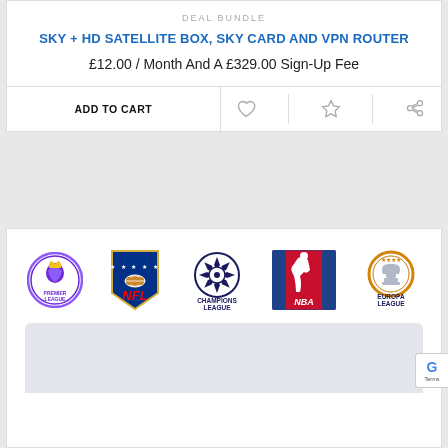DEAL BUNDLE
SKY + HD SATELLITE BOX, SKY CARD AND VPN ROUTER
£12.00 / Month And A £329.00 Sign-Up Fee
ADD TO CART
[Figure (logo): Action bar icons: heart (wishlist), star (favourite), share]
[Figure (logo): Sports league logos row: Premier League, NFL, UEFA Champions League, NBA, UEFA Europa League]
[Figure (photo): Bottom portion of a product device (satellite box or router) showing grey top surface]